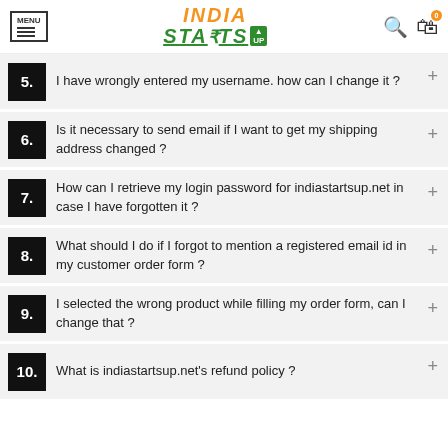MENU | INDIA STARTS UP | Search | Bag (0)
5. I have wrongly entered my username. how can I change it ?
6. Is it necessary to send email if I want to get my shipping address changed ?
7. How can I retrieve my login password for indiastartsup.net in case I have forgotten it ?
8. What should I do if I forgot to mention a registered email id in my customer order form ?
9. I selected the wrong product while filling my order form, can I change that ?
10. What is indiastartsup.net's refund policy ?